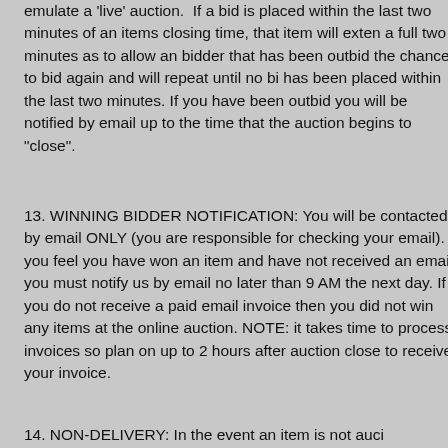emulate a 'live' auction.  If a bid is placed within the last two minutes of an items closing time, that item will extend a full two minutes as to allow an bidder that has been outbid the chance to bid again and will repeat until no bid has been placed within the last two minutes. If you have been outbid you will be notified by email up to the time that the auction begins to "close".
13. WINNING BIDDER NOTIFICATION: You will be contacted by email ONLY (you are responsible for checking your email). If you feel you have won an item and have not received an email you must notify us by email no later than 9 AM the next day. If you do not receive a paid email invoice then you did not win any items at the online auction. NOTE: it takes time to process invoices so plan on up to 2 hours after auction close to receive your invoice.
14. NON-DELIVERY: In the event an item is not auc...